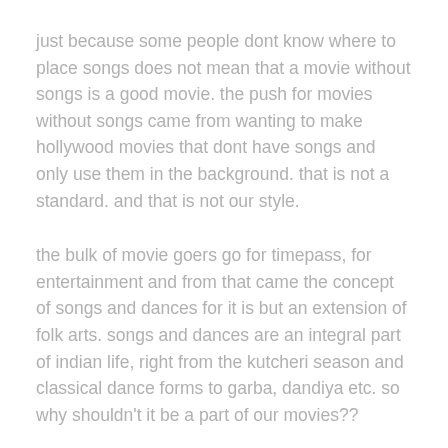just because some people dont know where to place songs does not mean that a movie without songs is a good movie. the push for movies without songs came from wanting to make hollywood movies that dont have songs and only use them in the background. that is not a standard. and that is not our style.
the bulk of movie goers go for timepass, for entertainment and from that came the concept of songs and dances for it is but an extension of folk arts. songs and dances are an integral part of indian life, right from the kutcheri season and classical dance forms to garba, dandiya etc. so why shouldn't it be a part of our movies??
why should we have a genre of no-song movies?? i wouldnt even call it a genre but a mere style of making